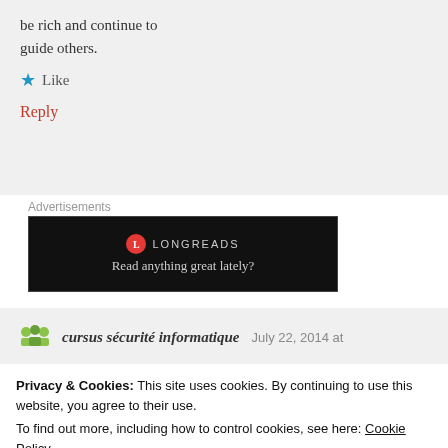be rich and continue to guide others.
Like
Reply
Advertisements
[Figure (screenshot): Longreads ad banner: red circle logo with L, brand name LONGREADS, tagline 'Read anything great lately?']
cursus sécurité informatique   July 22, 2014 at
Privacy & Cookies: This site uses cookies. By continuing to use this website, you agree to their use.
To find out more, including how to control cookies, see here: Cookie Policy
Close and accept
the conversation. It's triggered by the sincerness